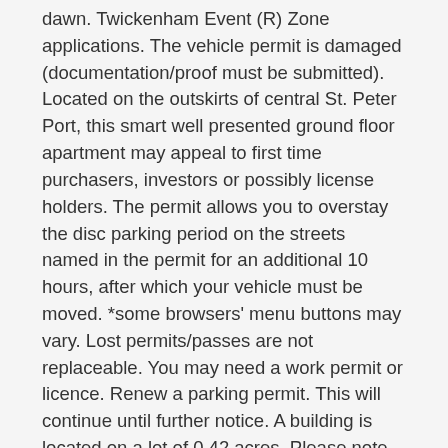dawn. Twickenham Event (R) Zone applications. The vehicle permit is damaged (documentation/proof must be submitted). Located on the outskirts of central St. Peter Port, this smart well presented ground floor apartment may appeal to first time purchasers, investors or possibly license holders. The permit allows you to overstay the disc parking period on the streets named in the permit for an additional 10 hours, after which your vehicle must be moved. *some browsers' menu buttons may vary. Lost permits/passes are not replaceable. You may need a work permit or licence. Renew a parking permit. This will continue until further notice. A building is located on a lot of 0.42 acres. Please note that the vehicle must be registered at an address on one of the named streets. In some areas of Eastleigh and Chandler's Ford we operate a parking scheme for residents. Sign In, The States of Guernsey will process any personal data that you provide, via this online form, in accordance with. The last one was Permit 1605313039 - Mechanical Single Family Alteration. Parking clocks are available for purchase from Driver & Vehicle Licensing Bulwer Avenue Office, the Guernsey Information Centre and the Police Station for £2.75. Fees for Wellesley residents are $480 and $1,080 for non-residents. You can apply for a permit and renew a permit online. If you pack in a 2 hour parking space at 5pm, set you clock for 17:00 and, as your 2 hour